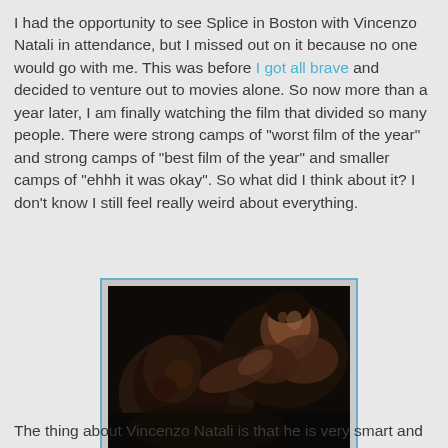I had the opportunity to see Splice in Boston with Vincenzo Natali in attendance, but I missed out on it because no one would go with me. This was before I got all brave and decided to venture out to movies alone. So now more than a year later, I am finally watching the film that divided so many people. There were strong camps of "worst film of the year" and strong camps of "best film of the year" and smaller camps of "ehhh it was okay". So what did I think about it? I don't know I still feel really weird about everything.
[Figure (photo): Dark cinematic still from the movie Splice showing a shadowy figure in a dark scene]
The thing about Vincenzo Natali is that he is very smart and